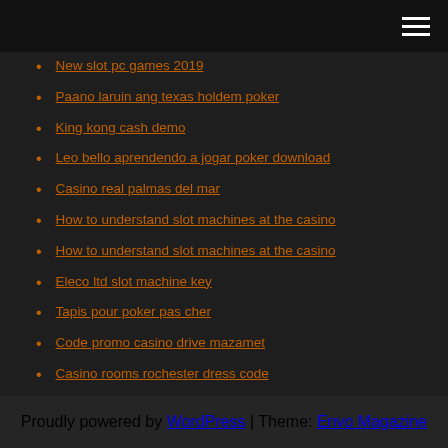[navigation bar with hamburger menu]
New slot pc games 2019
Paano laruin ang texas holdem poker
King kong cash demo
Leo bello aprendendo a jogar poker download
Casino real palmas del mar
How to understand slot machines at the casino
How to understand slot machines at the casino
Eleco ltd slot machine key
Tapis pour poker pas cher
Code promo casino drive mazamet
Casino rooms rochester dress code
Proudly powered by WordPress | Theme: Envo Magazine